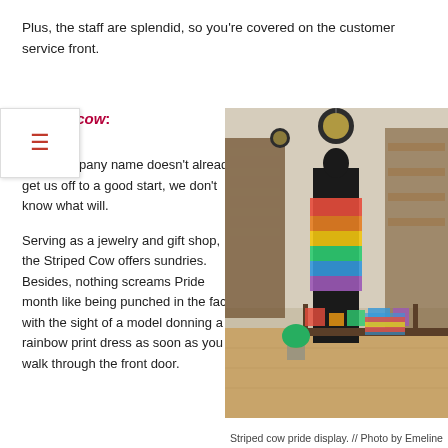Plus, the staff are splendid, so you're covered on the customer service front.
striped cow:
If the company name doesn't already get us off to a good start, we don't know what will.
Serving as a jewelry and gift shop, the Striped Cow offers sundries. Besides, nothing screams Pride month like being punched in the face with the sight of a model donning a rainbow print dress as soon as you walk through the front door.
[Figure (photo): Interior of the Striped Cow store showing shelves of gifts, a mannequin wearing a rainbow print dress, and colorful merchandise on a table.]
Striped cow pride display. // Photo by Emeline Hutton